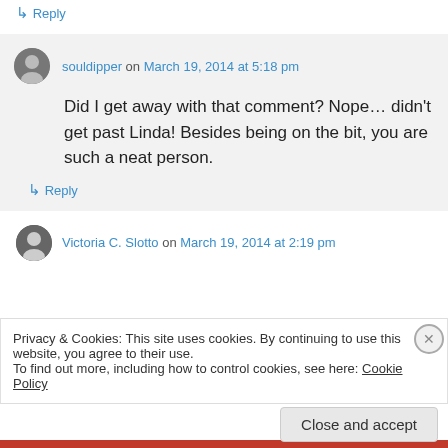↳ Reply
souldipper on March 19, 2014 at 5:18 pm
Did I get away with that comment? Nope… didn't get past Linda! Besides being on the bit, you are such a neat person.
↳ Reply
Victoria C. Slotto on March 19, 2014 at 2:19 pm
Privacy & Cookies: This site uses cookies. By continuing to use this website, you agree to their use. To find out more, including how to control cookies, see here: Cookie Policy
Close and accept